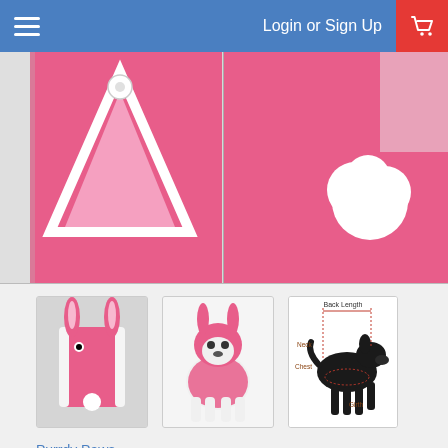Login or Sign Up
[Figure (photo): Close-up of a pink bunny dog costume showing button closure and white trim on left, and fluffy white tail on right side]
[Figure (photo): Thumbnail 1: Pink bunny dog costume laid flat showing ears and body]
[Figure (photo): Thumbnail 2: Small dog wearing pink bunny Easter costume]
[Figure (illustration): Dog measurement diagram showing Back Length, Neck, Chest, and Girth labels on silhouette]
Purrdy Paws
Dog Easter Costumes
$14.99